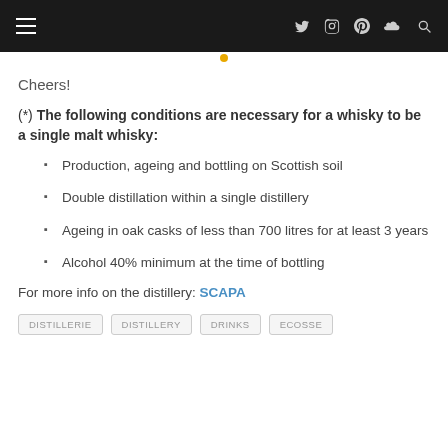Navigation bar with hamburger menu and social icons
Cheers!
(*) The following conditions are necessary for a whisky to be a single malt whisky:
Production, ageing and bottling on Scottish soil
Double distillation within a single distillery
Ageing in oak casks of less than 700 litres for at least 3 years
Alcohol 40% minimum at the time of bottling
For more info on the distillery: SCAPA
DISTILLERIE  DISTILLERY  DRINKS  ECOSSE